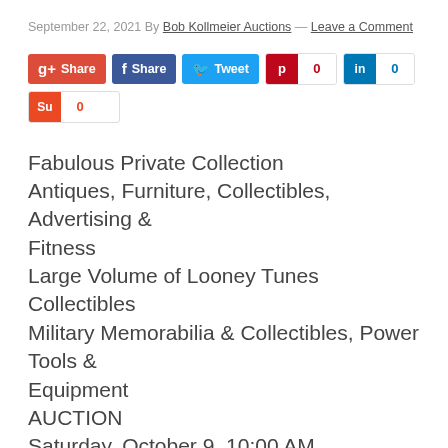September 22, 2021 By Bob Kollmeier Auctions — Leave a Comment
[Figure (infographic): Social share buttons row: Google+ Share (red), Facebook Share (dark blue), Twitter Tweet (light blue), Pinterest with count 0 (red/white), LinkedIn with count 0 (teal/white), and Stumbleupon with count 0 (orange/white)]
Fabulous Private Collection
Antiques, Furniture, Collectibles, Advertising & Fitness
Large Volume of Looney Tunes Collectibles
Military Memorabilia & Collectibles, Power Tools & Equipment
AUCTION
Saturday, October 9, 10:00 AM
2832 S. Scotts Lane, Springfield, MO